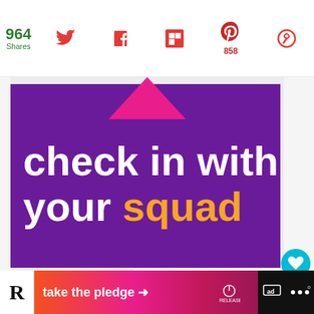964 Shares
[Figure (screenshot): Social sharing bar with Twitter, Facebook, Flipboard, Pinterest (858 saves), and another icon]
[Figure (illustration): Purple promotional image with pink triangle at top and white bold text 'check in with your squad' where 'squad' is in gold/orange color]
[Figure (screenshot): What's Next panel showing a thumbnail and text 'Chicken and Rice with...']
[Figure (screenshot): Bottom ad banner reading 'take the pledge' with arrow, Release logo, and other logos]